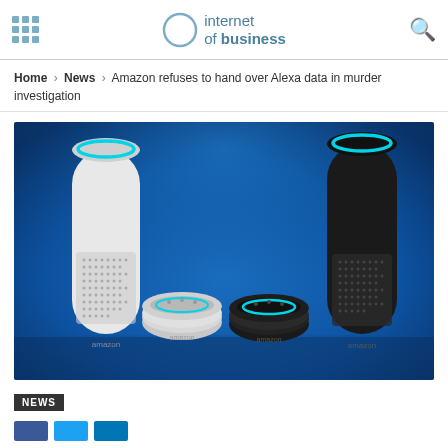internet of business
Home › News › Amazon refuses to hand over Alexa data in murder investigation
[Figure (photo): Four Amazon Echo and Echo Dot smart speakers arranged on a blue background. From left to right: a tall white Amazon Echo, a small white Amazon Echo Dot, a small dark Amazon Echo Dot, and a tall dark Amazon Echo. All devices have a cyan/teal ring light on top.]
NEWS